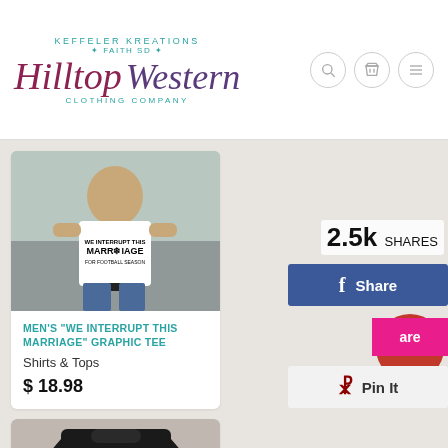Keffeler Kreations | Hilltop Western Clothing Company — Faith SD
[Figure (photo): Man wearing white graphic tee reading 'We Interrupt This Marriage For Football Season']
MEN'S "WE INTERRUPT THIS MARRIAGE" GRAPHIC TEE
Shirts & Tops
$ 18.98
[Figure (photo): Black graphic tee showing 'Football Day!!!' text on back]
MEN'S "FOOTBALL DAY" GRAPHIC TEE
Shirts & Tops
$ 18.98
[Figure (photo): Partial view of woman product]
[Figure (photo): Partial view of blue product]
2.5k SHARES
Share
are
Pin It